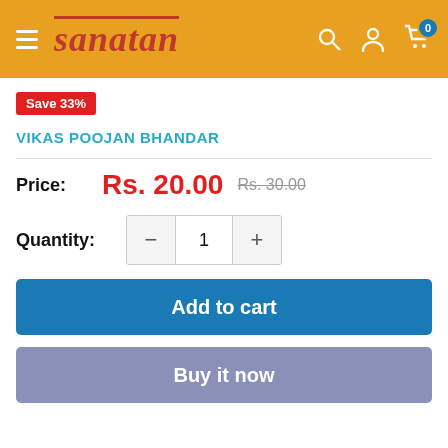sanatan
Save 33%
VIKAS POOJAN BHANDAR
Price: Rs. 20.00  Rs. 30.00
Quantity: 1
Add to cart
Buy it now